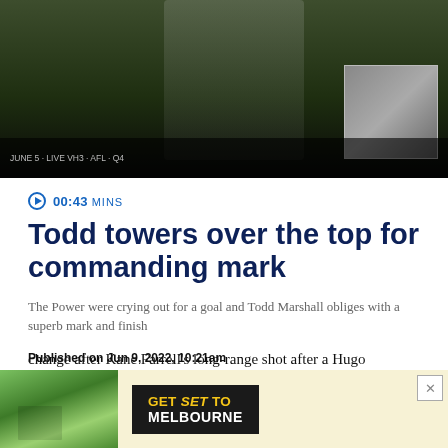[Figure (photo): Video banner showing a sports player (Todd Marshall) with arms crossed, dark green background with grass, small thumbnail image in top right corner, video progress bar at bottom]
▶ 00:43 MINS
Todd towers over the top for commanding mark
The Power were crying out for a goal and Todd Marshall obliges with a superb mark and finish
Published on Jun 9, 2022, 10:21am
Richmond appeared to steady after goals from Jack Riewoldt
[Figure (photo): Advertisement banner: GET SET TO MELBOURNE with outdoor park scene image on left and dark text block on right with yellow and white text]
change after Kane Farrell's long-range shot after a Hugo